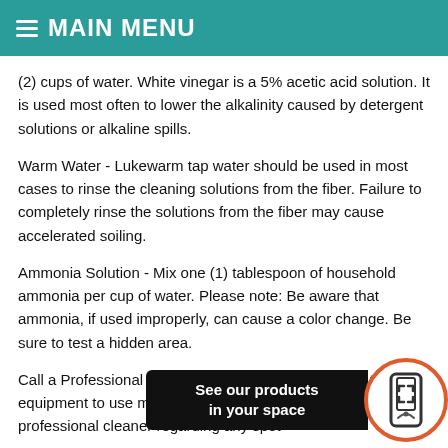≡ MAIN MENU
(2) cups of water. White vinegar is a 5% acetic acid solution. It is used most often to lower the alkalinity caused by detergent solutions or alkaline spills.
Warm Water - Lukewarm tap water should be used in most cases to rinse the cleaning solutions from the fiber. Failure to completely rinse the solutions from the fiber may cause accelerated soiling.
Ammonia Solution - Mix one (1) tablespoon of household ammonia per cup of water. Please note: Be aware that ammonia, if used improperly, can cause a color change. Be sure to test a hidden area.
Call a Professional - Professional cleaners have and the equipment to use m solutions to remove stubbo consulting a professional cleaner regarding any spot
[Figure (infographic): Dark overlay bar with text 'See our products in your space' and a circular icon with a phone/AR scanning symbol in orange border]